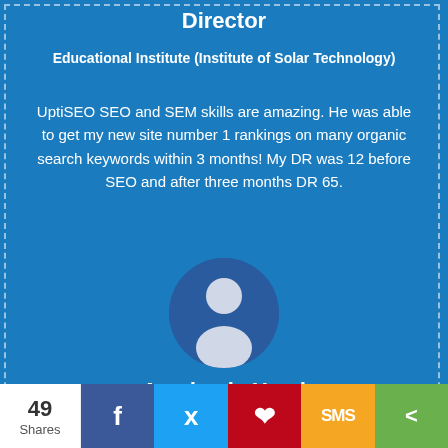Director
Educational Institute (Institute of Solar Technology)
UptiSEO SEO and SEM skills are amazing. He was able to get my new site number 1 rankings on many organic search keywords within 3 months! My DR was 12 before SEO and after three months DR 65.
[Figure (illustration): Circular avatar placeholder with a white person silhouette on a dark blue background]
Academic Head
Educational Institute (Academy of EV Technology)
49 Shares — social share bar with Facebook, Twitter, Pinterest, SMS, and share icons